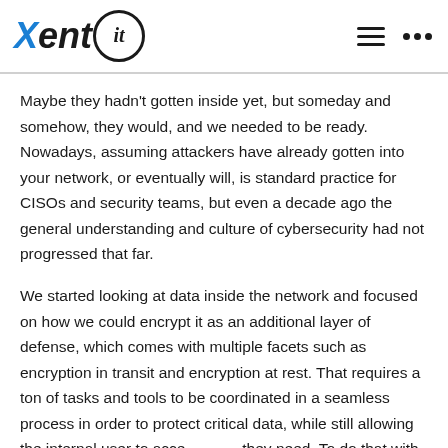Xent(it) logo with hamburger menu and dots navigation
Maybe they hadn't gotten inside yet, but someday and somehow, they would, and we needed to be ready. Nowadays, assuming attackers have already gotten into your network, or eventually will, is standard practice for CISOs and security teams, but even a decade ago the general understanding and culture of cybersecurity had not progressed that far.
We started looking at data inside the network and focused on how we could encrypt it as an additional layer of defense, which comes with multiple facets such as encryption in transit and encryption at rest. That requires a ton of tasks and tools to be coordinated in a seamless process in order to protect critical data, while still allowing the internal user to access what they need. To do that with every piece of data and file, is a